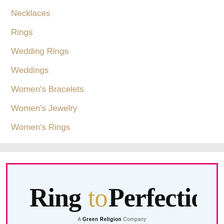Necklaces
Rings
Wedding Rings
Weddings
Women's Bracelets
Women's Jewelry
Women's Rings
[Figure (logo): Ring to Perfection logo — cursive handwritten text reading 'Ring to Perfection' with 'to' in gold/tan and the rest in black, inside a hot-pink bordered box on a light blue background. Subtitle reads 'A Green Religion Company'.]